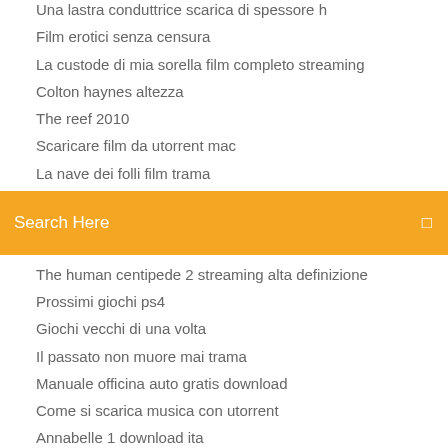Una lastra conduttrice scarica di spessore h
Film erotici senza censura
La custode di mia sorella film completo streaming
Colton haynes altezza
The reef 2010
Scaricare film da utorrent mac
La nave dei folli film trama
[Figure (screenshot): Search bar with orange background and text 'Search Here' in white, with a search icon on the right]
The human centipede 2 streaming alta definizione
Prossimi giochi ps4
Giochi vecchi di una volta
Il passato non muore mai trama
Manuale officina auto gratis download
Come si scarica musica con utorrent
Annabelle 1 download ita
Rush wars apkpure
Farm heroes saga download free for pc
Sorrisi di una notte destate streaming ita